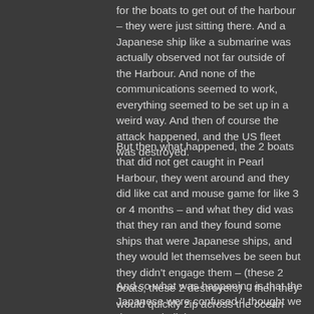for the boats to get out of the harbour – they were just sitting there. And a Japanese ship like a submarine was actually observed not far outside of the Harbour. And none of the communications seemed to work, everything seemed to be set up in a weird way. And then of course the attack happened, and the US fleet was destroyed.
But then what happened, the 2 boats that did not get caught in Pearl Harbour, they went around and they did like cat and mouse game for like 3 or 4 months – and what they did was that they ran and they found some ships that were Japanese ships, and they would let themselves be seen but they didn't engage them – (these 2 boats, these 2 destroyers) – then they would quickly zip across the ocean and show up and let themselves be seen where another set of Japanese boats were.
And so what was happening is that the Japanese were confused 'I thought we destroyed all those